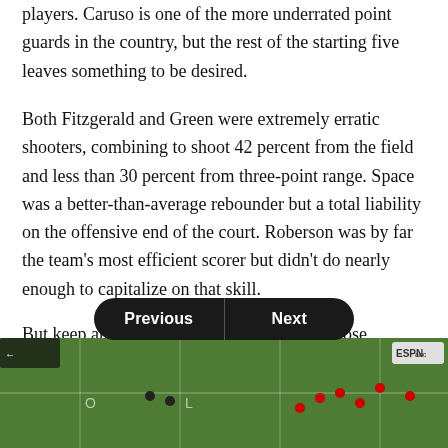players. Caruso is one of the more underrated point guards in the country, but the rest of the starting five leaves something to be desired.
Both Fitzgerald and Green were extremely erratic shooters, combining to shoot 42 percent from the field and less than 30 percent from three-point range. Space was a better-than-average rebounder but a total liability on the offensive end of the court. Roberson was by far the team's most efficient scorer but didn't do nearly enough to capitalize on that skill.
But keep an ear to the ground for news on those transfers. Should House and Jones both be able to play, feel free to vault Texas A&M into sixth or seventh place.
[Figure (screenshot): Navigation bar with Previous and Next buttons overlaid on a football field image from ESPN/ABC broadcast]